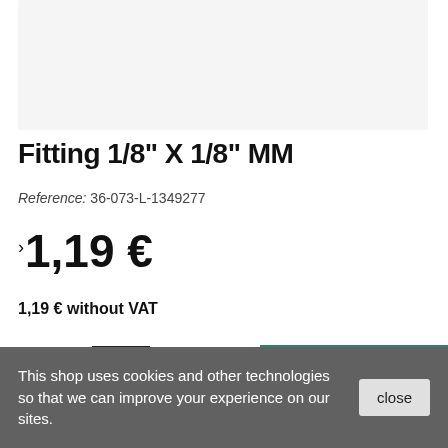[Figure (photo): Product image placeholder area, light gray background]
Fitting 1/8" X 1/8" MM
Reference: 36-073-L-1349277
›1,19 €
1,19 € without VAT
Quantity 1 — + ADD TO CART
This shop uses cookies and other technologies so that we can improve your experience on our sites.